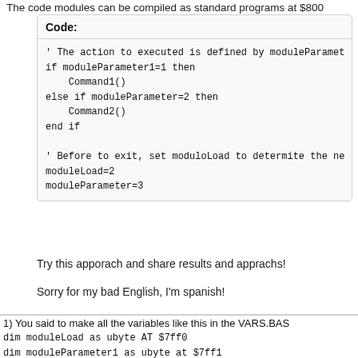The code modules can be compiled as standard programs at $800...
Code:
' The action to executed is defined by moduleParamet...
if moduleParameter1=1 then
    Command1()
else if moduleParameter=2 then
    Command2()
end if

' Before to exit, set moduloLoad to determite the ne...
moduleLoad=2
moduleParameter=3
Try this apporach and share results and apprachs!
Sorry for my bad English, I'm spanish!
1) You said to make all the variables like this in the VARS.BAS
dim moduleLoad as ubyte AT $7ff0
dim moduleParameter1 as ubyte at $7ff1
dim moduleParameter2 as ubyte at $7ff2
dim lives as ubyte at $7ff3